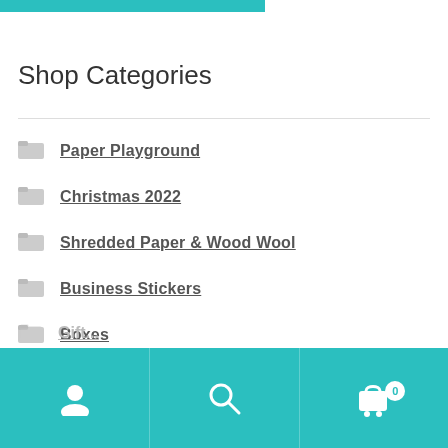Shop Categories
Paper Playground
Christmas 2022
Shredded Paper & Wood Wool
Business Stickers
Boxes
Cellophane Rolls
Dispensers, Stands & Gadgets
User | Search | Cart (0)